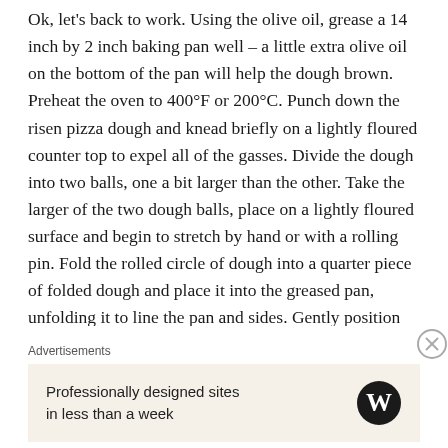Ok, let's back to work. Using the olive oil, grease a 14 inch by 2 inch baking pan well – a little extra olive oil on the bottom of the pan will help the dough brown. Preheat the oven to 400°F or 200°C. Punch down the risen pizza dough and knead briefly on a lightly floured counter top to expel all of the gasses. Divide the dough into two balls, one a bit larger than the other. Take the larger of the two dough balls, place on a lightly floured surface and begin to stretch by hand or with a rolling pin. Fold the rolled circle of dough into a quarter piece of folded dough and place it into the greased pan, unfolding it to line the pan and sides. Gently position the dough into the corners of the pan, allowing the excess dough to overhang the edges. Fill the pan with the cooked and cooled escarole mixture and gently place the 12 inch circle of dough over the filling. Trim the overhanging dough with a scissors so that the excess is equal around the perimeter of the circle. Turn the trimmed edge of the dough into the pan t
Advertisements
Professionally designed sites in less than a week